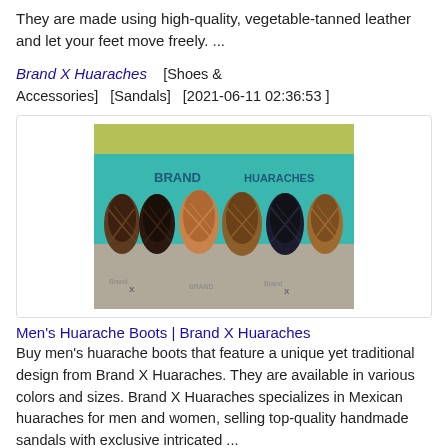They are made using high-quality, vegetable-tanned leather and let your feet move freely. ...
Brand X Huaraches    [Shoes & Accessories]    [Sandals]    [2021-06-11 02:36:53 ]
[Figure (photo): Six woven leather huarache sandals in brown, black, and tan colors arranged in a row against a colorful background with Brand X Huaraches branding]
Men's Huarache Boots | Brand X Huaraches
Buy men's huarache boots that feature a unique yet traditional design from Brand X Huaraches. They are available in various colors and sizes. Brand X Huaraches specializes in Mexican huaraches for men and women, selling top-quality handmade sandals with exclusive intricated ...